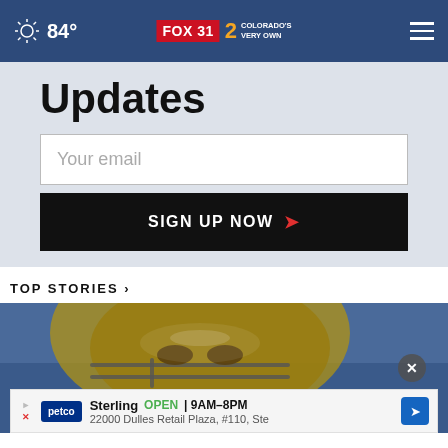84° FOX 31 2 COLORADO'S VERY OWN
Updates
Your email
SIGN UP NOW
TOP STORIES ›
[Figure (photo): Close-up of a football player wearing a helmet with face mask, viewed from below against a blue sky background.]
Sterling  OPEN | 9AM–8PM  22000 Dulles Retail Plaza, #110, Ste